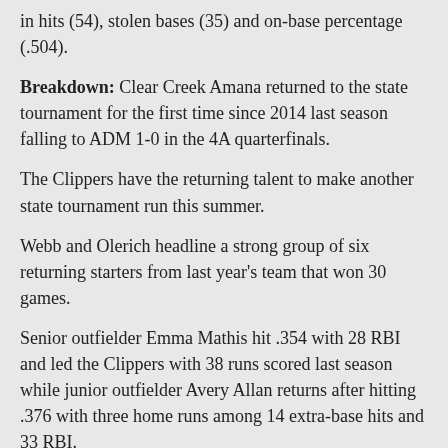in hits (54), stolen bases (35) and on-base percentage (.504).
Breakdown: Clear Creek Amana returned to the state tournament for the first time since 2014 last season falling to ADM 1-0 in the 4A quarterfinals.
The Clippers have the returning talent to make another state tournament run this summer.
Webb and Olerich headline a strong group of six returning starters from last year’s team that won 30 games.
Senior outfielder Emma Mathis hit .354 with 28 RBI and led the Clippers with 38 runs scored last season while junior outfielder Avery Allan returns after hitting .376 with three home runs among 14 extra-base hits and 33 RBI.
Junior Olivia Miller (.314 BA, 21 RBI) and sophomore Reese